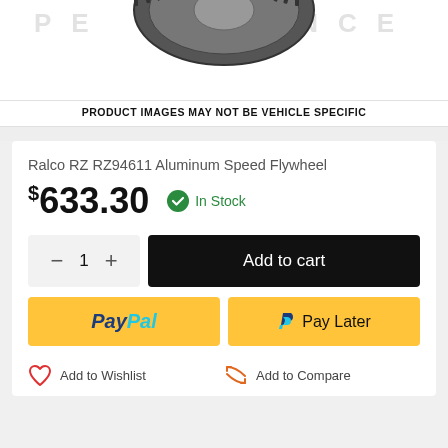[Figure (photo): Partial flywheel product image with 'PERFORMANCE' text watermark in background]
PRODUCT IMAGES MAY NOT BE VEHICLE SPECIFIC
Ralco RZ RZ94611 Aluminum Speed Flywheel
$633.30  In Stock
- 1 +  Add to cart
PayPal  Pay Later
Add to Wishlist  Add to Compare